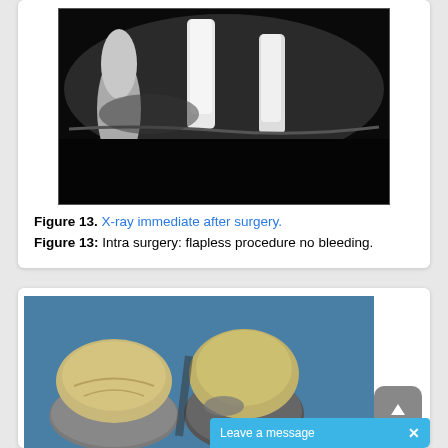[Figure (photo): X-ray image showing dental implants immediately after surgery, displaying two bright white implant posts in the bone with one natural tooth root visible on the left side, against a dark background.]
Figure 13. X-ray immediate after surgery.
Figure 13: Intra surgery: flapless procedure no bleeding.
[Figure (photo): Dental crowns photographed on a blue background, showing metal-ceramic dental restorations (PFM crowns) with gold/silver metallic bases and tooth-colored porcelain on the occlusal surfaces.]